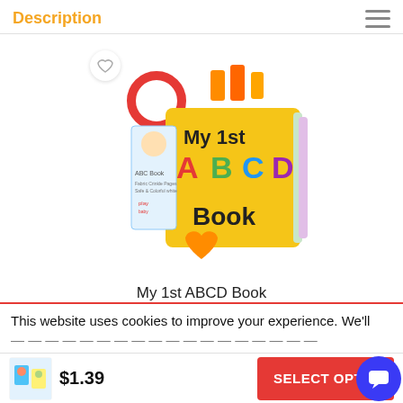Description
[Figure (photo): My 1st ABCD Book product image — a colorful fabric book with ABC letters, a red teether ring at top and orange heart teether at bottom, shown alongside its retail packaging]
My 1st ABCD Book
$3.80
This website uses cookies to improve your experience. We'll
$1.39
SELECT OPTIO